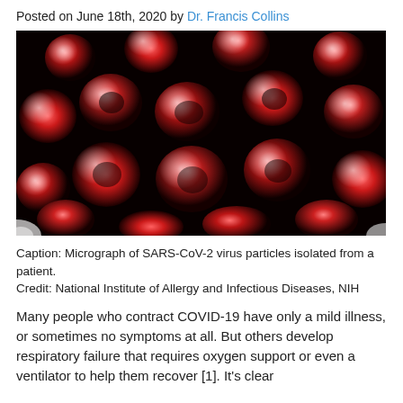Posted on June 18th, 2020 by Dr. Francis Collins
[Figure (photo): Fluorescence micrograph of SARS-CoV-2 virus particles isolated from a patient, showing multiple spherical red/pink virus particles on a black background.]
Caption: Micrograph of SARS-CoV-2 virus particles isolated from a patient.
Credit: National Institute of Allergy and Infectious Diseases, NIH
Many people who contract COVID-19 have only a mild illness, or sometimes no symptoms at all. But others develop respiratory failure that requires oxygen support or even a ventilator to help them recover [1]. It's clear